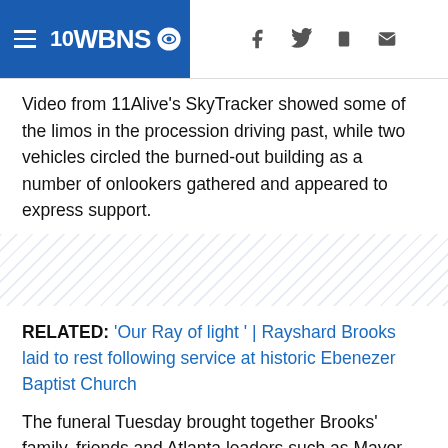10WBNS CBS
Video from 11Alive's SkyTracker showed some of the limos in the procession driving past, while two vehicles circled the burned-out building as a number of onlookers gathered and appeared to express support.
[Figure (other): Hatched decorative divider band]
RELATED: 'Our Ray of light ' | Rayshard Brooks laid to rest following service at historic Ebenezer Baptist Church
The funeral Tuesday brought together Brooks' family, friends and Atlanta leaders such as Mayor Keisha Lance Bottoms, Rep. John Lewis and Bernice King. He was remembered by those who loved him as a bright personality, full of spirit.
Brooks was shot and killed...